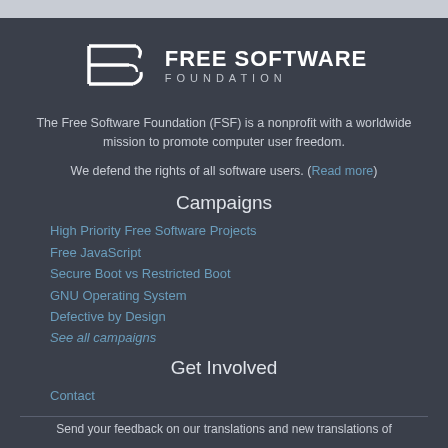[Figure (logo): Free Software Foundation logo with FSF stylized letters and text]
The Free Software Foundation (FSF) is a nonprofit with a worldwide mission to promote computer user freedom.
We defend the rights of all software users. (Read more)
Campaigns
High Priority Free Software Projects
Free JavaScript
Secure Boot vs Restricted Boot
GNU Operating System
Defective by Design
See all campaigns
Get Involved
Contact
Send your feedback on our translations and new translations of